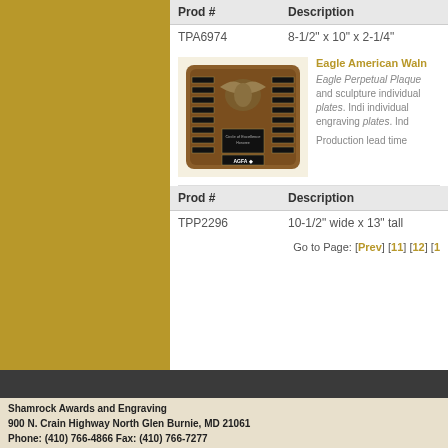| Prod # | Description |
| --- | --- |
| TPA6974 | 8-1/2" x 10" x 2-1/4" |
[Figure (photo): Eagle American Walnut perpetual plaque with black plates and eagle sculpture, branded AGFA]
Eagle American Waln...
Eagle Perpetual Plaque and sculpture individual plates. Individual engraving plates. Ind...
Production lead time...
| Prod # | Description |
| --- | --- |
| TPP2296 | 10-1/2" wide x 13" tall |
Go to Page: [Prev] [11] [12] [1...
Shamrock Awards and Engraving
900 N. Crain Highway North Glen Burnie, MD 21061
Phone: (410) 766-4866 Fax: (410) 766-7277